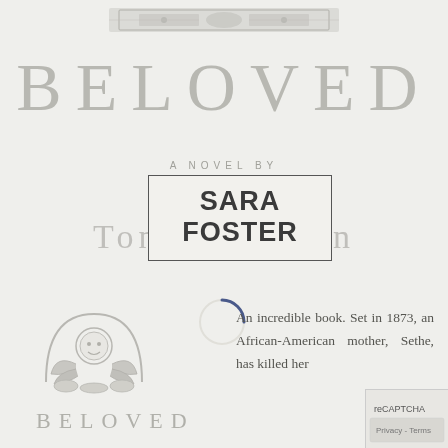[Figure (illustration): Decorative banner/header ornament at top of book cover page]
BELOVED
A NOVEL BY
[Figure (other): Overlaid box showing 'SARA FOSTER' author name]
Toni Morrison
[Figure (other): Loading spinner arc circle]
[Figure (illustration): Bottom-left circular emblem/medallion with decorative face and wings design]
BELOVED
An incredible book. Set in 1873, an African-American mother, Sethe, has killed her